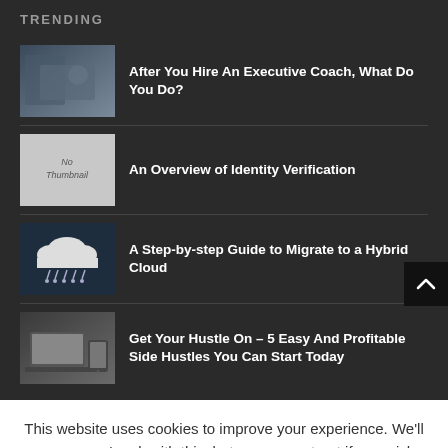TRENDING
After You Hire An Executive Coach, What Do You Do?
An Overview of Identity Verification
A Step-by-step Guide to Migrate to a Hybrid Cloud
Get Your Hustle On – 5 Easy And Profitable Side Hustles You Can Start Today
This website uses cookies to improve your experience. We'll assume you're ok with this, but you can opt-out if you wish.
Accept   Reject   Read More